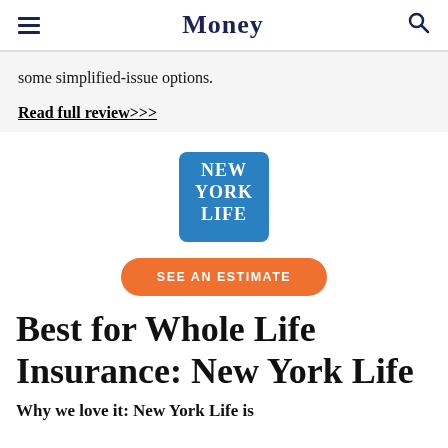Money
some simplified-issue options.
Read full review>>>
[Figure (logo): New York Life logo — blue square with white stacked text: NEW YORK LIFE]
SEE AN ESTIMATE
Best for Whole Life Insurance: New York Life
Why we love it: New York Life is